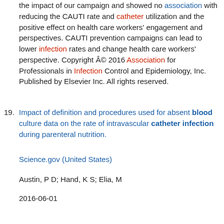the impact of our campaign and showed no association with reducing the CAUTI rate and catheter utilization and the positive effect on health care workers' engagement and perspectives. CAUTI prevention campaigns can lead to lower infection rates and change health care workers' perspective. Copyright © 2016 Association for Professionals in Infection Control and Epidemiology, Inc. Published by Elsevier Inc. All rights reserved.
19. Impact of definition and procedures used for absent blood culture data on the rate of intravascular catheter infection during parenteral nutrition.
Science.gov (United States)
Austin, P D; Hand, K S; Elia, M
2016-06-01
Diagnosis of intravascular catheter infection may be affected by the definition and procedures applied in the absence of blood culture data. To examine the extent to which different definitions of catheter infection and procedures for handling absent blood culture data can affect reported catheter infection rates. Catheter infection rates were established in a cohort of